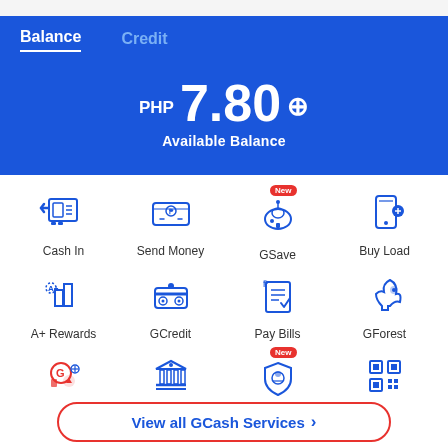Balance | Credit
PHP 7.80
Available Balance
[Figure (infographic): GCash app home screen showing service icons: Cash In, Send Money, GSave (New), Buy Load, A+ Rewards, GCredit, Pay Bills, GForest, GLife, Bank Transfer, GInsure (New), Pay QR]
View all GCash Services >